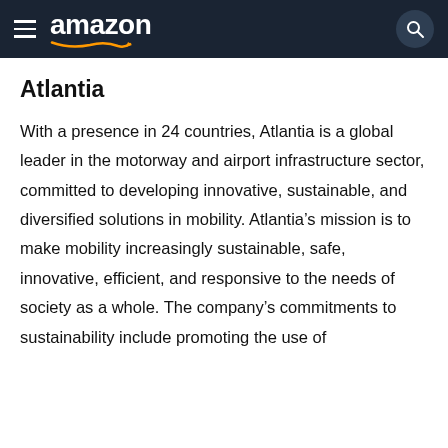amazon
Atlantia
With a presence in 24 countries, Atlantia is a global leader in the motorway and airport infrastructure sector, committed to developing innovative, sustainable, and diversified solutions in mobility. Atlantia’s mission is to make mobility increasingly sustainable, safe, innovative, efficient, and responsive to the needs of society as a whole. The company’s commitments to sustainability include promoting the use of